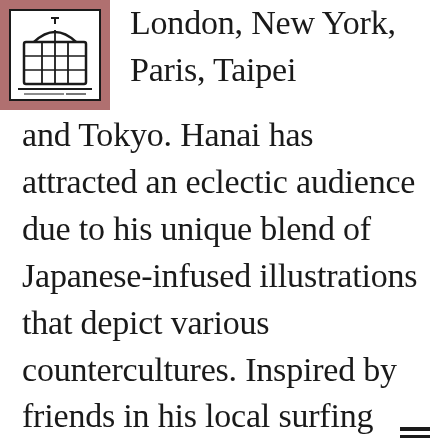[Figure (logo): Street Art News logo — globe/building icon in a bordered box on a mauve/dusty rose background]
London, New York, Paris, Taipei and Tokyo. Hanai has attracted an eclectic audience due to his unique blend of Japanese-infused illustrations that depict various countercultures. Inspired by friends in his local surfing community, Hanai's drawings focus on the lives of ordinary people. He has also collaborated with fashion brands such as Vans